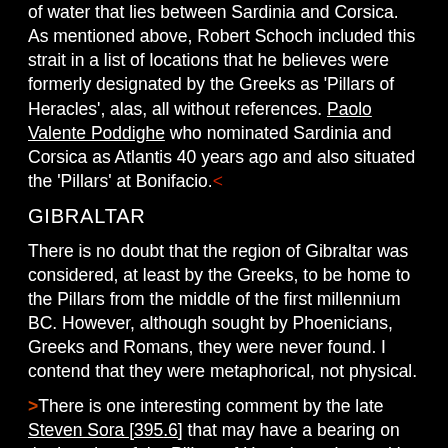of water that lies between Sardinia and Corsica. As mentioned above, Robert Schoch included this strait in a list of locations that he believes were formerly designated by the Greeks as 'Pillars of Heracles', alas, all without references. Paolo Valente Poddighe who nominated Sardinia and Corsica as Atlantis 40 years ago and also situated the 'Pillars' at Bonifacio.<
GIBRALTAR
There is no doubt that the region of Gibraltar was considered, at least by the Greeks, to be home to the Pillars from the middle of the first millennium BC. However, although sought by Phoenicians, Greeks and Romans, they were never found. I contend that they were metaphorical, not physical.
>There is one interesting comment by the late Steven Sora [395.6] that may have a bearing on the location of the Pillars of Heracles, where, citing Ernle Bradford [1011], he claimed that at the time when Homer wrote, around 775 BC, the Greeks had barely ventured as far as Italy. To me, this would appear to suggest that at that time it is improbable that the 'Pillars' were identified by the Greeks